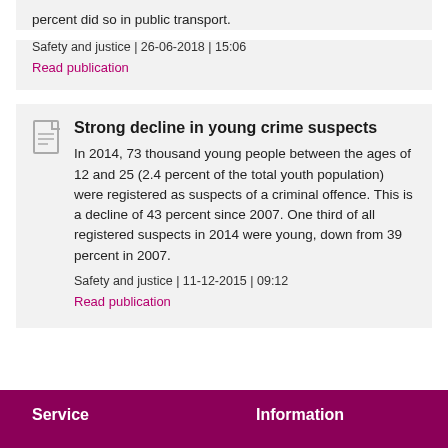percent did so in public transport.
Safety and justice | 26-06-2018 | 15:06
Read publication
Strong decline in young crime suspects
In 2014, 73 thousand young people between the ages of 12 and 25 (2.4 percent of the total youth population) were registered as suspects of a criminal offence. This is a decline of 43 percent since 2007. One third of all registered suspects in 2014 were young, down from 39 percent in 2007.
Safety and justice | 11-12-2015 | 09:12
Read publication
Service   Information